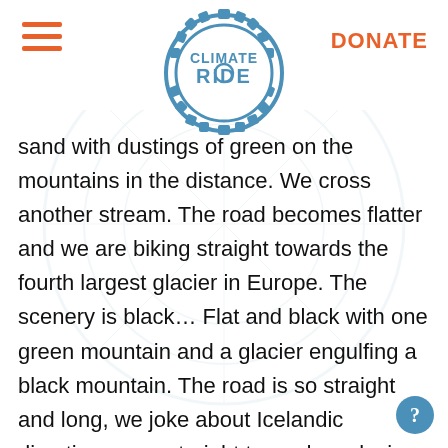Climate Ride | DONATE
sand with dustings of green on the mountains in the distance. We cross another stream. The road becomes flatter and we are biking straight towards the fourth largest glacier in Europe. The scenery is black… Flat and black with one green mountain and a glacier engulfing a black mountain. The road is so straight and long, we joke about Icelandic directions – go straight towards a glacier, hang a right at the Green Mountain, then cross the stream. This stream was the coldest. But somehow it doesn't phase me – my feet must be numb. I'm wearing shorts and biking alongside a glacier. What a